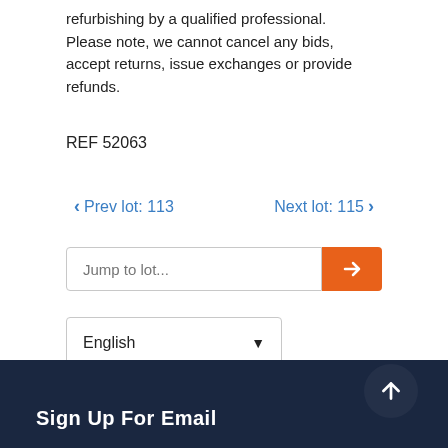refurbishing by a qualified professional.
Please note, we cannot cancel any bids, accept returns, issue exchanges or provide refunds.
REF 52063
< Prev lot: 113   Next lot: 115 >
Jump to lot...
English
Sign Up For Email